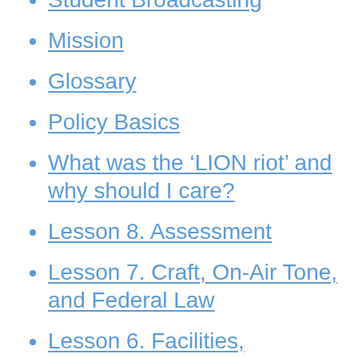Student Broadcasting
Mission
Glossary
Policy Basics
What was the ‘LION riot’ and why should I care?
Lesson 8. Assessment
Lesson 7. Craft, On-Air Tone, and Federal Law
Lesson 6. Facilities, Engineering, and Operations
Lesson 5. Formatics, Programmatics,